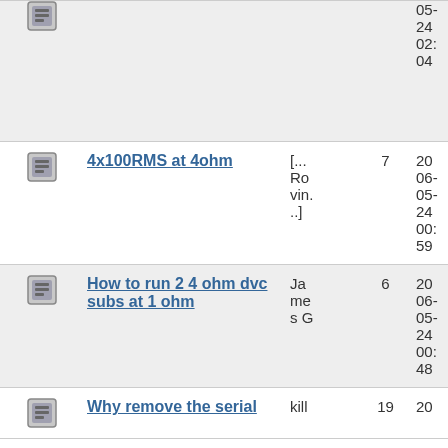| Icon | Title | Author | Replies | Date |
| --- | --- | --- | --- | --- |
| [icon] |  |  |  | 05-24 02:04 |
| [icon] | 4x100RMS at 4ohm | [... Rovin...] | 7 | 20 06-05-24 00:59 |
| [icon] | How to run 2 4 ohm dvc subs at 1 ohm | James G | 6 | 20 06-05-24 00:48 |
| [icon] | Why remove the serial | kill | 19 | 20 |